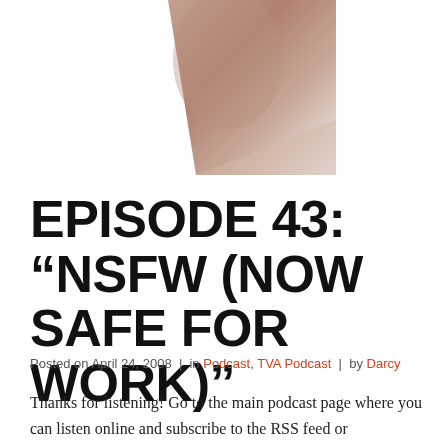[Figure (photo): Partial photo of a hand or skin, cropped in upper right area of the page]
EPISODE 43: “NSFW (NOW SAFE FOR WORK)”
Posted on April 24, 2008  |  in Podcast, TVA Podcast  |  by Darcy
Thanks for listening! Go to the main podcast page where you can listen online and subscribe to the RSS feed or